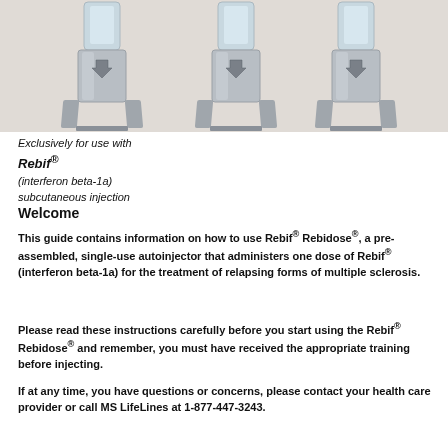[Figure (photo): Three silver/grey autoinjector devices (Rebif Rebidose) shown side by side against a light grey background, each with a clear cartridge on top and a downward-pointing arrow symbol on the body.]
Exclusively for use with Rebif® (interferon beta-1a) subcutaneous injection
Welcome
This guide contains information on how to use Rebif® Rebidose®, a pre-assembled, single-use autoinjector that administers one dose of Rebif® (interferon beta-1a) for the treatment of relapsing forms of multiple sclerosis.
Please read these instructions carefully before you start using the Rebif® Rebidose® and remember, you must have received the appropriate training before injecting.
If at any time, you have questions or concerns, please contact your health care provider or call MS LifeLines at 1-877-447-3243.